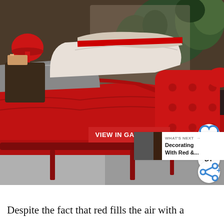[Figure (photo): A luxurious red leather bed with tufted headboard, white and grey pillows, red satin bedding with grey accents, a red mushroom lamp on a bedside table, plants in the background, and stacked books on the floor to the right. The bedroom setting appears to be a design showroom or display.]
Despite the fact that red fills the air with a